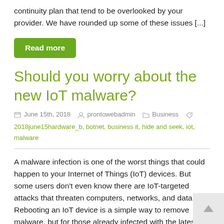continuity plan that tend to be overlooked by your provider. We have rounded up some of these issues [...]
Read more
Should you worry about the new IoT malware?
June 15th, 2018  prontowebadmin  Business  2018june15hardware_b, botnet, business it, hide and seek, iot, malware
A malware infection is one of the worst things that could happen to your Internet of Things (IoT) devices. But some users don't even know there are IoT-targeted attacks that threaten computers, networks, and data. Rebooting an IoT device is a simple way to remove malware, but for those already infected with the latest strain, [...]